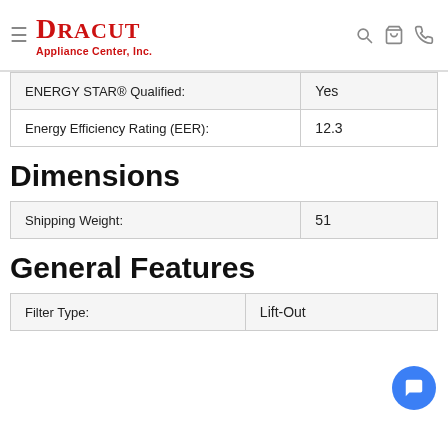Dracut Appliance Center, Inc.
| Specification | Value |
| --- | --- |
| ENERGY STAR® Qualified: | Yes |
| Energy Efficiency Rating (EER): | 12.3 |
Dimensions
| Specification | Value |
| --- | --- |
| Shipping Weight: | 51 |
General Features
| Specification | Value |
| --- | --- |
| Filter Type: | Lift-Out |